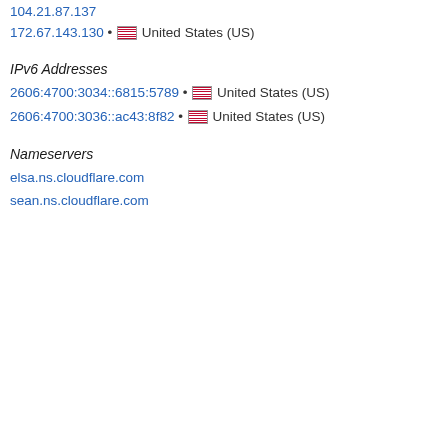104.21.87.137
172.67.143.130 • 🏁 United States (US)
IPv6 Addresses
2606:4700:3034::6815:5789 • 🏁 United States (US)
2606:4700:3036::ac43:8f82 • 🏁 United States (US)
Nameservers
elsa.ns.cloudflare.com
sean.ns.cloudflare.com